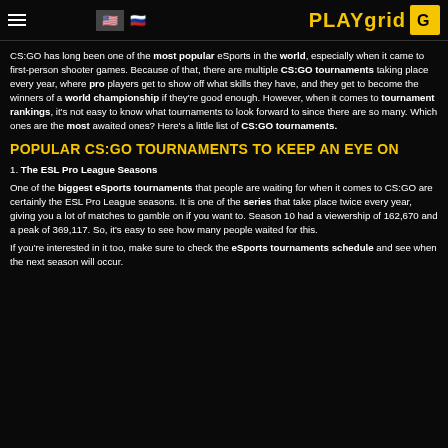PLAYgrid
CS:GO has long been one of the most popular eSports in the world, especially when it came to first-person shooter games. Because of that, there are multiple CS:GO tournaments taking place every year, where pro players get to show off what skills they have, and they get to become the winners of a world championship if they're good enough. However, when it comes to tournament rankings, it's not easy to know what tournaments to look forward to since there are so many. Which ones are the most awaited ones? Here's a little list of CS:GO tournaments.
POPULAR CS:GO TOURNAMENTS TO KEEP AN EYE ON
1. The ESL Pro League Seasons
One of the biggest eSports tournaments that people are waiting for when it comes to CS:GO are certainly the ESL Pro League seasons. It is one of the series that take place twice every year, giving you a lot of matches to gamble on if you want to. Season 10 had a viewership of 162,670 and a peak of 369,117. So, it's easy to see how many people waited for this.
If you're interested in it too, make sure to check the eSports tournaments schedule and see when the next season will occur.